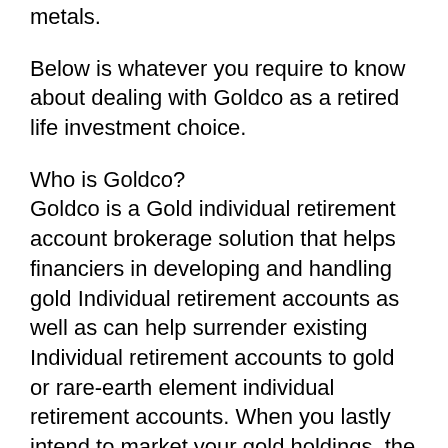metals.
Below is whatever you require to know about dealing with Goldco as a retired life investment choice.
Who is Goldco?
Goldco is a Gold individual retirement account brokerage solution that helps financiers in developing and handling gold Individual retirement accounts as well as can help surrender existing Individual retirement accounts to gold or rare-earth element individual retirement accounts. When you lastly intend to market your gold holdings, the company will certainly assist you with this by getting your rare-earth elements from you or selling them in your place in the